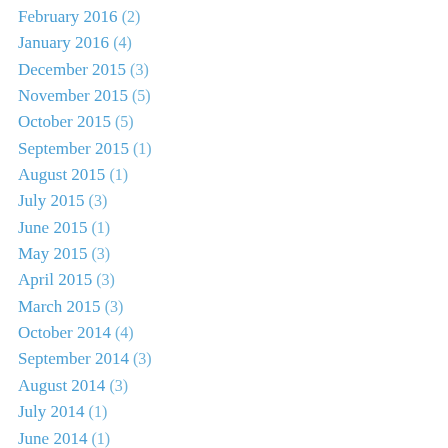February 2016 (2)
January 2016 (4)
December 2015 (3)
November 2015 (5)
October 2015 (5)
September 2015 (1)
August 2015 (1)
July 2015 (3)
June 2015 (1)
May 2015 (3)
April 2015 (3)
March 2015 (3)
October 2014 (4)
September 2014 (3)
August 2014 (3)
July 2014 (1)
June 2014 (1)
May 2014 (3)
April 2014 (2)
March 2014 (4)